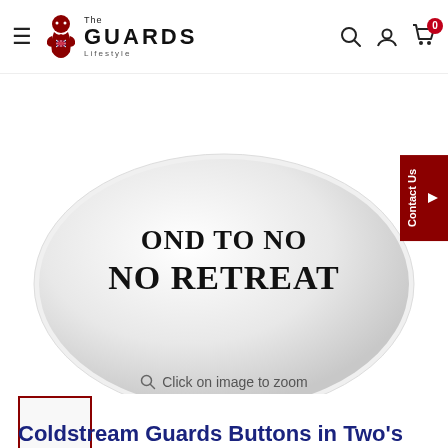The Guards Lifestyle — navigation header with hamburger menu, logo, search, account, cart (0)
[Figure (photo): Close-up of a white ceramic mug showing partial text 'OND TO NO' and 'NO RETREAT' in bold serif font]
Click on image to zoom
[Figure (photo): Small thumbnail of the mug product image with dark red border indicating selected state]
Coldstream Guards Buttons in Two's Ceramic Mug